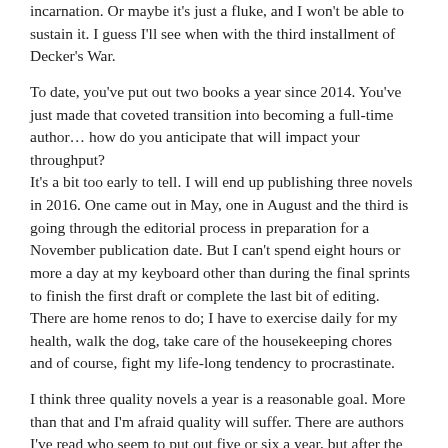incarnation. Or maybe it's just a fluke, and I won't be able to sustain it. I guess I'll see when with the third installment of Decker's War.
To date, you've put out two books a year since 2014. You've just made that coveted transition into becoming a full-time author… how do you anticipate that will impact your throughput?
It's a bit too early to tell. I will end up publishing three novels in 2016. One came out in May, one in August and the third is going through the editorial process in preparation for a November publication date. But I can't spend eight hours or more a day at my keyboard other than during the final sprints to finish the first draft or complete the last bit of editing. There are home renos to do; I have to exercise daily for my health, walk the dog, take care of the housekeeping chores and of course, fight my life-long tendency to procrastinate.
I think three quality novels a year is a reasonable goal. More than that and I'm afraid quality will suffer. There are authors I've read who seem to put out five or six a year, but after the first few in a given series or even between series in the same genre, they started to sound and feel the same to me. I don't want to fall into that trap for the sake of quantity because that's the way to lose readers.
Do you think that self-publishing would be as successful a choice for